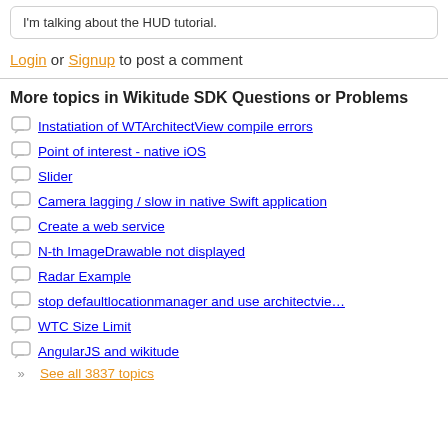I'm talking about the HUD tutorial.
Login or Signup to post a comment
More topics in Wikitude SDK Questions or Problems
Instatiation of WTArchitectView compile errors
Point of interest - native iOS
Slider
Camera lagging / slow in native Swift application
Create a web service
N-th ImageDrawable not displayed
Radar Example
stop defaultlocationmanager and use architectvie...
WTC Size Limit
AngularJS and wikitude
See all 3837 topics